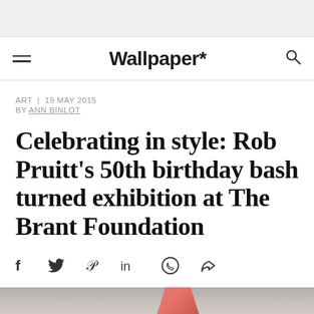Wallpaper*
ART  |  19 MAY 2015
BY ANN BINLOT
Celebrating in style: Rob Pruitt's 50th birthday bash turned exhibition at The Brant Foundation
[Figure (other): Social sharing icons: Facebook (f), Twitter (bird), Pinterest (P), LinkedIn (in), WhatsApp, Share arrow]
[Figure (photo): Partial bottom image strip showing a reddish diagonal shape on a grey/beige background]